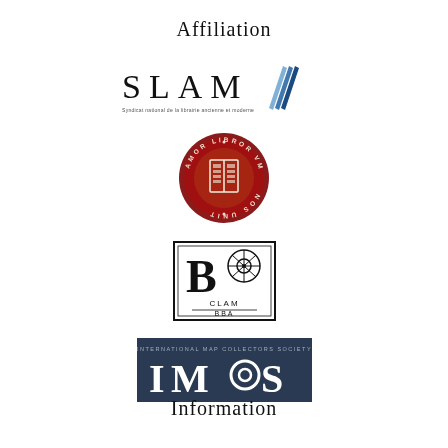Affiliation
[Figure (logo): SLAM logo - Syndicat de la Librairie Ancienne et Moderne with blue book pages icon and small tagline text]
[Figure (logo): ILAB circular badge/seal with red background, text 'AMOR LIBRORUM NOS UNIT' and book emblem in center]
[Figure (logo): CLAM BBA logo - rectangular bordered box with large B letter and film reel icon, text CLAM and BBA below]
[Figure (logo): IMCOS logo - International Map Collectors Society dark blue banner with IMCOS text in large white letters]
Information